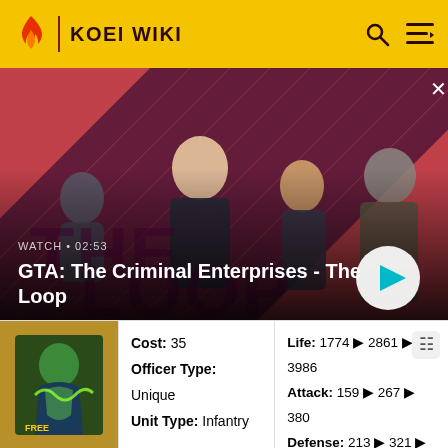KOEI WIKI
[Figure (screenshot): GTA: The Criminal Enterprises - The Loop video thumbnail with four characters on a diagonal striped red/pink background, play button and watch timer 02:53]
| Cost: 35 | Life: 1774 ▶ 2861 ▶ 3986 |
| Officer Type: Unique | Attack: 159 ▶ 267 ▶ 380 |
| Unit Type: Infantry | Defense: 213 ▶ 321 ▶ 434 |